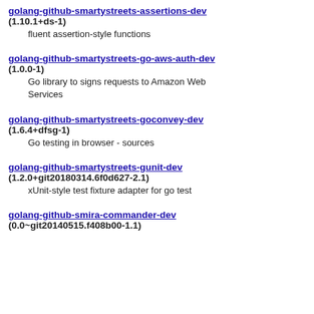golang-github-smartystreets-assertions-dev
(1.10.1+ds-1)
fluent assertion-style functions
golang-github-smartystreets-go-aws-auth-dev
(1.0.0-1)
Go library to signs requests to Amazon Web Services
golang-github-smartystreets-goconvey-dev
(1.6.4+dfsg-1)
Go testing in browser - sources
golang-github-smartystreets-gunit-dev
(1.2.0+git20180314.6f0d627-2.1)
xUnit-style test fixture adapter for go test
golang-github-smira-commander-dev
(0.0~git20140515.f408b00-1.1)